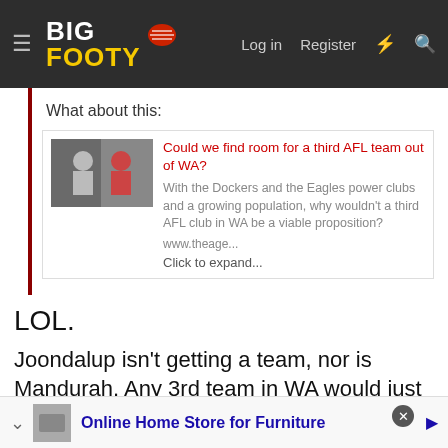BigFooty — Log in | Register
What about this:
[Figure (screenshot): Embedded link card with image thumbnail and article title 'Could we find room for a third AFL team out of WA?' with description text about Dockers and Eagles power clubs and a growing population, with 'Click to expand...' button]
LOL.
Joondalup isn't getting a team, nor is Mandurah. Any 3rd team in WA would just be Perth AFL Team v3.0 playing out of Optus Stadium.
Online Home Store for Furniture (advertisement)